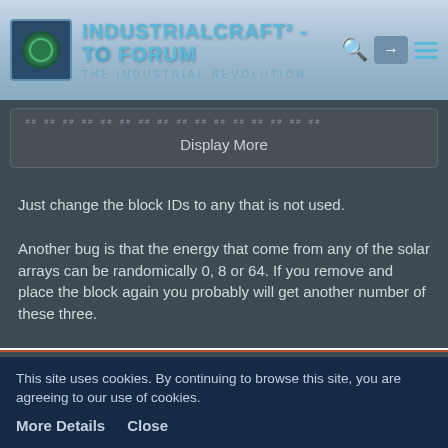IndustrialCraft² - The Forum | The Industrial Revolution
[Figure (screenshot): Collapsed code block with dotted line and Display More button]
Just change the block IDs to any that is not used.
Another bug is that the energy that come from any of the solar arrays can be randomically 0, 8 or 64. If you remove and place the block again you probably will get another number of these three.
Geo Terra
Lead Miner
This site uses cookies. By continuing to browse this site, you are agreeing to our use of cookies.
More Details   Close